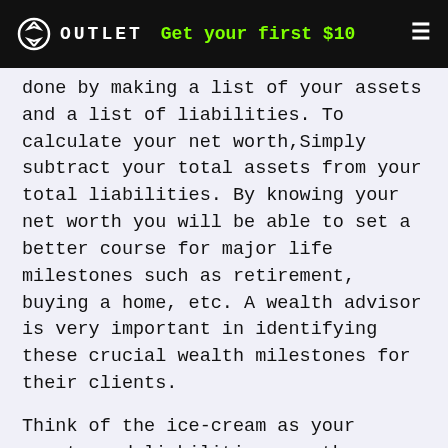OUTLET  Get your first $10
done by making a list of your assets and a list of liabilities. To calculate your net worth,Simply subtract your total assets from your total liabilities. By knowing your net worth you will be able to set a better course for major life milestones such as retirement, buying a home, etc. A wealth advisor is very important in identifying these crucial wealth milestones for their clients.
Think of the ice-cream as your assets and liabilities are the toppings, If you don't know what you have or what you want, you'll blindly put toppings on your ice-cream making an overly sweet disaster. While its equally important to not compare your ice cream and topping choices against